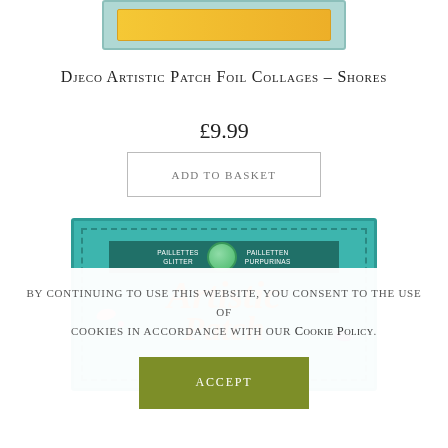[Figure (photo): Top portion of a product box for Djeco Artistic Patch Foil Collages – Shores, showing teal/green border with yellow inner panel]
Djeco Artistic Patch Foil Collages – Shores
£9.99
Add to basket
[Figure (photo): Product box image showing teal border with 'Artistic Patch' text in orange italic script, with glitter/paillettes banner and small fish decorations]
By continuing to use this website, you consent to the use of cookies in accordance with our Cookie Policy.
Accept